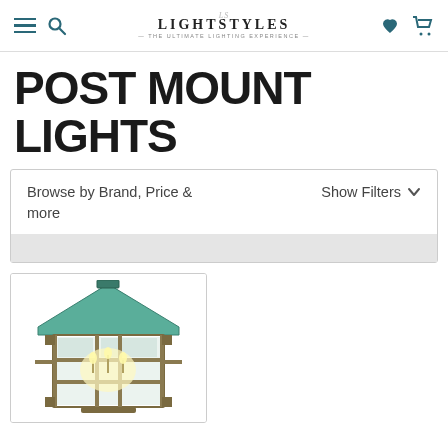LightStyles — The Ultimate Lighting Experience
POST MOUNT LIGHTS
Browse by Brand, Price & more    Show Filters ˅
[Figure (photo): A post mount lantern light fixture with a green/teal pagoda-style roof, clear glass panels showing interior candelabra bulbs, and an aged bronze/verdigris finish, displayed on white background.]